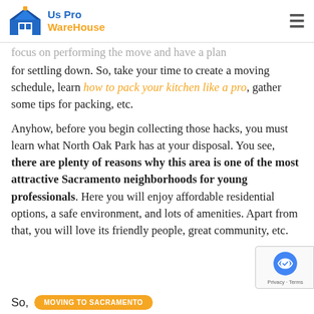Us Pro WareHouse
focus on performing the move and have a plan for settling down. So, take your time to create a moving schedule, learn how to pack your kitchen like a pro, gather some tips for packing, etc.
Anyhow, before you begin collecting those hacks, you must learn what North Oak Park has at your disposal. You see, there are plenty of reasons why this area is one of the most attractive Sacramento neighborhoods for young professionals. Here you will enjoy affordable residential options, a safe environment, and lots of amenities. Apart from that, you will love its friendly people, great community, etc.